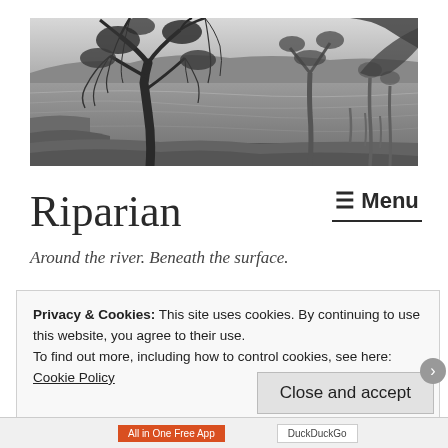[Figure (photo): Black and white panoramic photograph of a river scene with large gum trees in the foreground, calm water reflecting the trees, and a wide sky beyond. Australian river landscape.]
Riparian
≡ Menu
Around the river. Beneath the surface.
Privacy & Cookies: This site uses cookies. By continuing to use this website, you agree to their use.
To find out more, including how to control cookies, see here: Cookie Policy
Close and accept